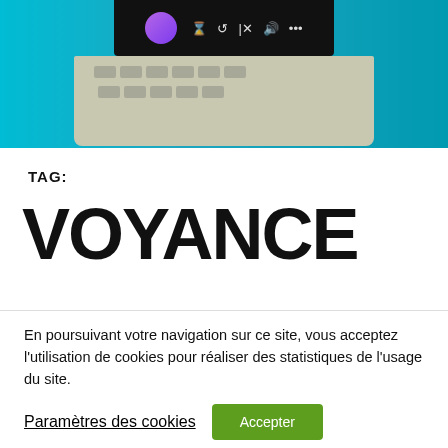[Figure (screenshot): Hero image showing a laptop on a cyan/teal background with a screen UI bar showing a purple circle avatar and media control icons]
TAG:
VOYANCE
En poursuivant votre navigation sur ce site, vous acceptez l'utilisation de cookies pour réaliser des statistiques de l'usage du site.
Paramètres des cookies   Accepter